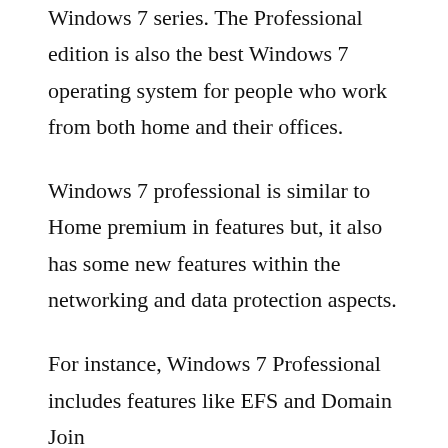Windows 7 series. The Professional edition is also the best Windows 7 operating system for people who work from both home and their offices.
Windows 7 professional is similar to Home premium in features but, it also has some new features within the networking and data protection aspects.
For instance, Windows 7 Professional includes features like EFS and Domain Join